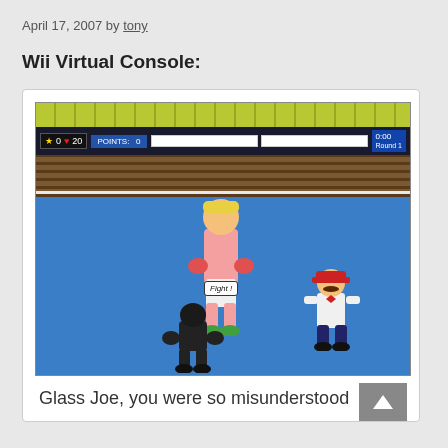April 17, 2007 by tony
Wii Virtual Console:
[Figure (screenshot): NES Punch-Out!! game screenshot showing Glass Joe in the boxing ring with Mario as referee and the player's boxer at the bottom. HUD shows star counter (0), hearts (20), POINTS: 0, timer 0:00, Round 1. Speech bubble says 'Fight!']
Glass Joe, you were so misunderstood